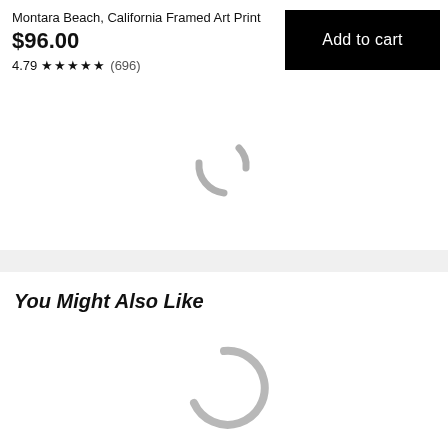Montara Beach, California Framed Art Print
$96.00
4.79 ★★★★★ (696)
Add to cart
[Figure (other): Loading spinner (partial arc) indicating content is loading]
You Might Also Like
[Figure (other): Loading spinner (circular arc) indicating content is loading]